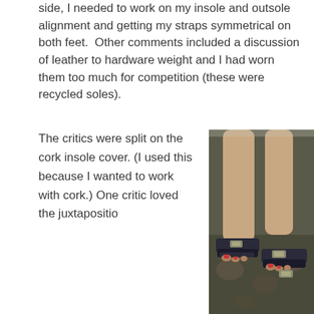side, I needed to work on my insole and outsole alignment and getting my straps symmetrical on both feet.  Other comments included a discussion of leather to hardware weight and I had worn them too much for competition (these were recycled soles).
The critics were split on the cork insole cover. (I used this because I wanted to work with cork.) One critic loved the juxtapositio
[Figure (photo): A close-up photo of a person's feet and lower legs wearing dark navy/black leather sandals with straps and buckles, standing on a floral patterned rug or carpet.]